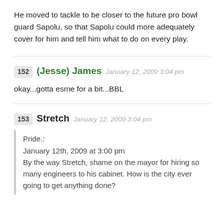He moved to tackle to be closer to the future pro bowl guard Sapolu, so that Sapolu could more adequately cover for him and tell him what to do on every play.
152 (Jesse) James January 12, 2009 3:04 pm
okay...gotta esme for a bit...BBL
153 Stretch January 12, 2009 3:04 pm
Pride.:
January 12th, 2009 at 3:00 pm
By the way Stretch, shame on the mayor for hiring so many engineers to his cabinet. How is the city ever going to get anything done?